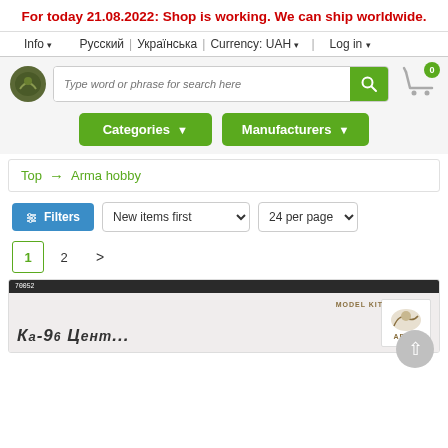For today 21.08.2022: Shop is working. We can ship worldwide.
Info | Русский | Українська | Currency: UAH | Log in
[Figure (screenshot): Search bar with logo, search input placeholder 'Type word or phrase for search here', green search button, and cart icon with badge 0]
Categories ▾   Manufacturers ▾
Top → Arma hobby
Filters   New items first ▾   24 per page ▾
1  2  >
[Figure (screenshot): Product card preview showing a model kit box with MODEL KIT text and ARMA logo, product title partially visible]